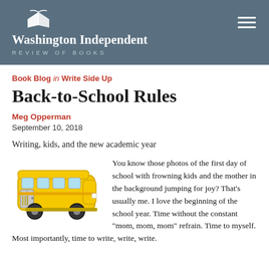Washington Independent REVIEW OF BOOKS
Book Blog in Write Side Up
Back-to-School Rules
Meg Opperman
September 10, 2018
Writing, kids, and the new academic year
[Figure (illustration): A cartoon illustration of a yellow school bus facing right, with black wheels, light blue windows, and a grey door.]
You know those photos of the first day of school with frowning kids and the mother in the background jumping for joy? That’s usually me. I love the beginning of the school year. Time without the constant “mom, mom, mom” refrain. Time to myself. Most importantly, time to write, write, write.